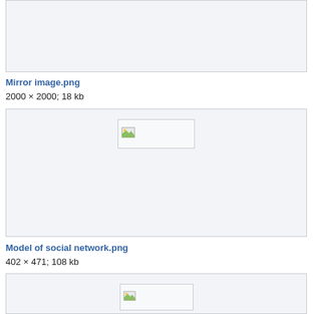[Figure (screenshot): Image placeholder box at top of page, partially cut off, light gray background with broken image icon]
Mirror image.png
2000 × 2000; 18 kb
[Figure (screenshot): Image placeholder box, light gray background with broken image icon thumbnail centered near top]
Model of social network.png
402 × 471; 108 kb
[Figure (screenshot): Image placeholder box at bottom, partially cut off, light gray background with broken image icon]